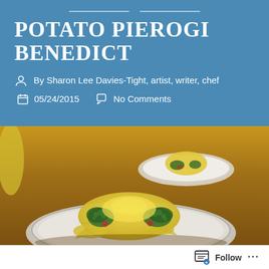POTATO PIEROGI BENEDICT
By Sharon Lee Davies-Tight, artist, writer, chef
05/24/2015   No Comments
[Figure (photo): A plate of potato pierogi benedict with hollandaise sauce drizzled over pierogi and green herbs, with a second serving visible in the background in a white bowl]
Follow ...